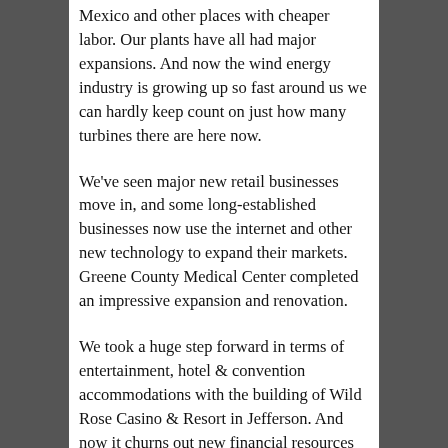Mexico and other places with cheaper labor. Our plants have all had major expansions. And now the wind energy industry is growing up so fast around us we can hardly keep count on just how many turbines there are here now.
We've seen major new retail businesses move in, and some long-established businesses now use the internet and other new technology to expand their markets. Greene County Medical Center completed an impressive expansion and renovation.
We took a huge step forward in terms of entertainment, hotel & convention accommodations with the building of Wild Rose Casino & Resort in Jefferson. And now it churns out new financial resources for government, education and non-profit civic organizations.
Most recently, voters in the Greene County